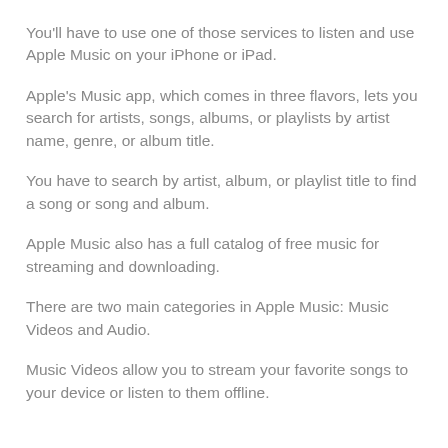You'll have to use one of those services to listen and use Apple Music on your iPhone or iPad.
Apple's Music app, which comes in three flavors, lets you search for artists, songs, albums, or playlists by artist name, genre, or album title.
You have to search by artist, album, or playlist title to find a song or song and album.
Apple Music also has a full catalog of free music for streaming and downloading.
There are two main categories in Apple Music: Music Videos and Audio.
Music Videos allow you to stream your favorite songs to your device or listen to them offline.